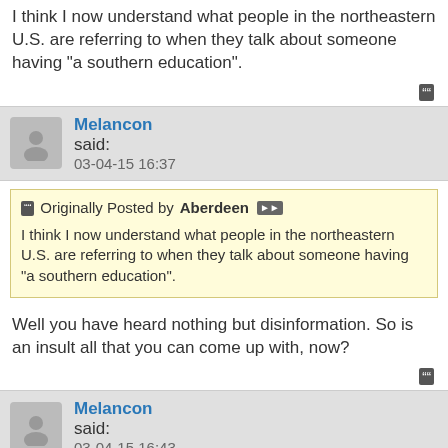I think I now understand what people in the northeastern U.S. are referring to when they talk about someone having "a southern education".
Melancon said: 03-04-15 16:37
Originally Posted by Aberdeen
I think I now understand what people in the northeastern U.S. are referring to when they talk about someone having "a southern education".
Well you have heard nothing but disinformation. So is an insult all that you can come up with, now?
Melancon said: 03-04-15 16:43
Originally Posted by Aberdeen
I think I now understand what people in the northeastern